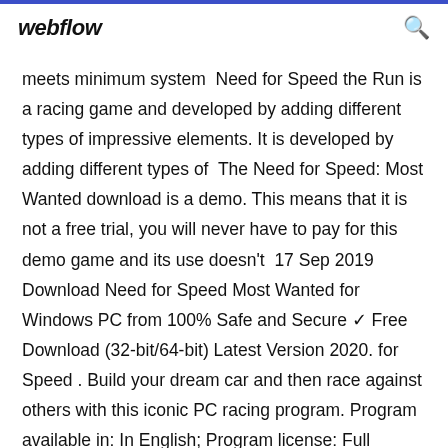webflow
meets minimum system  Need for Speed the Run is a racing game and developed by adding different types of impressive elements. It is developed by adding different types of  The Need for Speed: Most Wanted download is a demo. This means that it is not a free trial, you will never have to pay for this demo game and its use doesn't  17 Sep 2019 Download Need for Speed Most Wanted for Windows PC from 100% Safe and Secure ✓ Free Download (32-bit/64-bit) Latest Version 2020. for Speed . Build your dream car and then race against others with this iconic PC racing program. Program available in: In English; Program license: Full Version; Program by: Electronic Arts Free